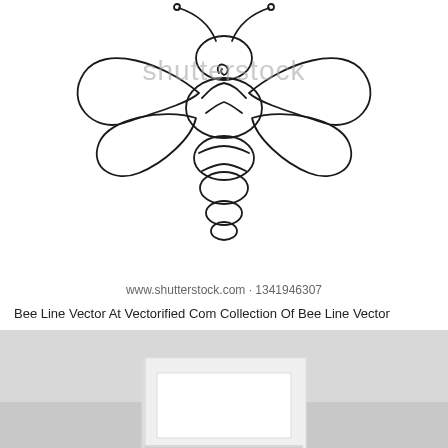[Figure (illustration): One-line drawing of a bee viewed from above, with wings spread, created in a continuous looping wire/line art style. A Shutterstock watermark overlays the image.]
www.shutterstock.com · 1341946307
Bee Line Vector At Vectorified Com Collection Of Bee Line Vector
[Figure (photo): Photograph of a white room interior with a white door partially visible at the bottom, set against a light grey wall.]